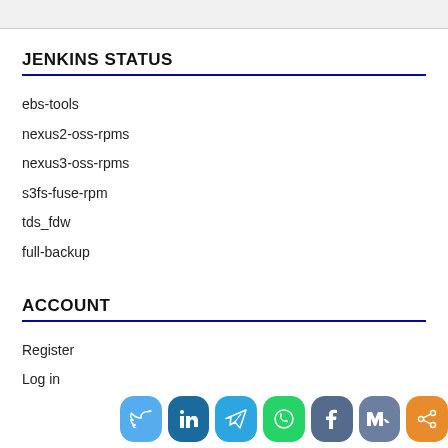JENKINS STATUS
ebs-tools
nexus2-oss-rpms
nexus3-oss-rpms
s3fs-fuse-rpm
tds_fdw
full-backup
ACCOUNT
Register
Log in
CATEGORIES